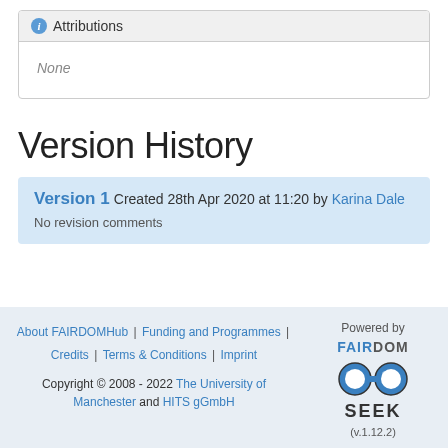Attributions
None
Version History
Version 1 Created 28th Apr 2020 at 11:20 by Karina Dale
No revision comments
About FAIRDOMHub | Funding and Programmes | Credits | Terms & Conditions | Imprint
Copyright © 2008 - 2022 The University of Manchester and HITS gGmbH
Powered by FAIRDOM SEEK (v.1.12.2)